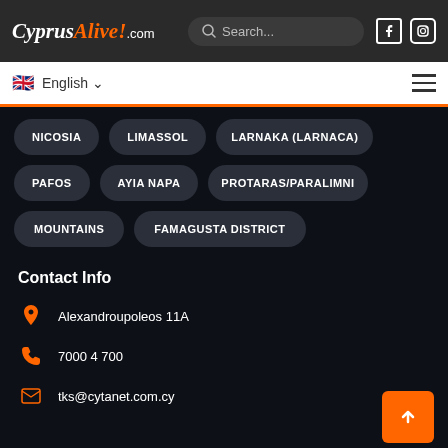CyprusAlive!.com — Search... — Facebook — Instagram icon
English — hamburger menu
NICOSIA
LIMASSOL
LARNAKA (LARNACA)
PAFOS
AYIA NAPA
PROTARAS/PARALIMNI
MOUNTAINS
FAMAGUSTA DISTRICT
Contact Info
Alexandroupoleos 11A
7000 4 700
tks@cytanet.com.cy